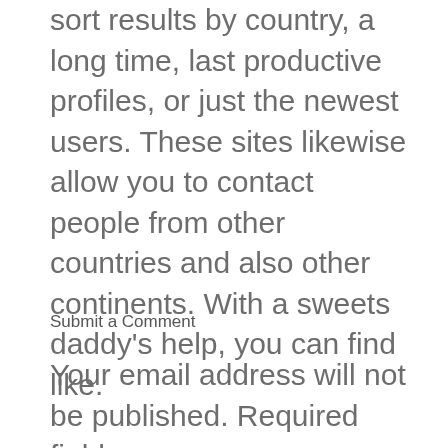sort results by country, a long time, last productive profiles, or just the newest users. These sites likewise allow you to contact people from other countries and also other continents. With a sweets daddy's help, you can find like.
Submit a Comment
Your email address will not be published. Required fields are